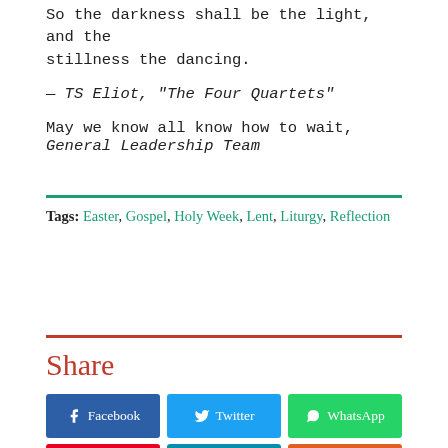So the darkness shall be the light, and the stillness the dancing.
— TS Eliot, "The Four Quartets"
May we know all know how to wait,
General Leadership Team
Tags: Easter, Gospel, Holy Week, Lent, Liturgy, Reflection
Share
Facebook  Twitter  WhatsApp  Pinterest  LinkedIn  Reddit